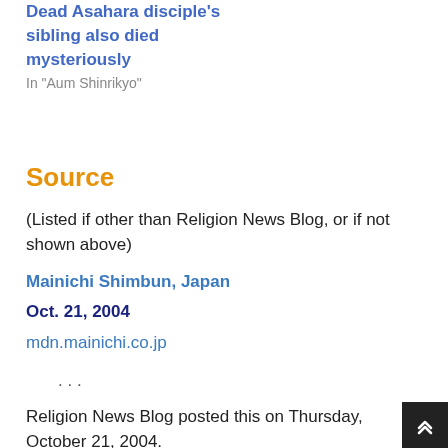Dead Asahara disciple's sibling also died mysteriously
In "Aum Shinrikyo"
Source
(Listed if other than Religion News Blog, or if not shown above)
Mainichi Shimbun, Japan
Oct. 21, 2004
mdn.mainichi.co.jp
· · ·
Religion News Blog posted this on Thursday, October 21, 2004.